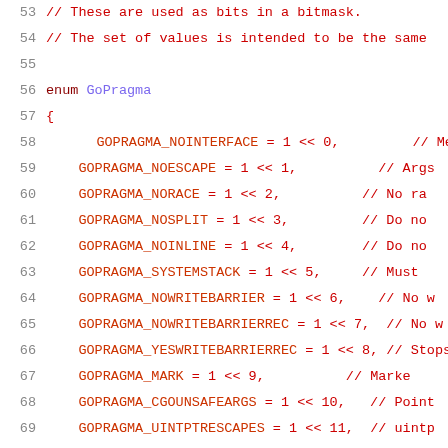53  // These are used as bits in a bitmask.
54  // The set of values is intended to be the same
55
56  enum GoPragma
57  {
58      GOPRAGMA_NOINTERFACE = 1 << 0,   // Methe
59      GOPRAGMA_NOESCAPE = 1 << 1,      // Args
60      GOPRAGMA_NORACE = 1 << 2,        // No ra
61      GOPRAGMA_NOSPLIT = 1 << 3,       // Do no
62      GOPRAGMA_NOINLINE = 1 << 4,      // Do no
63      GOPRAGMA_SYSTEMSTACK = 1 << 5,   // Must
64      GOPRAGMA_NOWRITEBARRIER = 1 << 6,  // No w
65      GOPRAGMA_NOWRITEBARRIERREC = 1 << 7,  // No w
66      GOPRAGMA_YESWRITEBARRIERREC = 1 << 8, // Stops
67      GOPRAGMA_MARK = 1 << 9,          // Marke
68      GOPRAGMA_CGOUNSAFEARGS = 1 << 10, // Point
69      GOPRAGMA_UINTPTRESCAPES = 1 << 11, // uintp
70      GOPRAGMA_NOTINHEAP = 1 << 12     // type
71  };
72
73  // A token returned from the lexer.
74